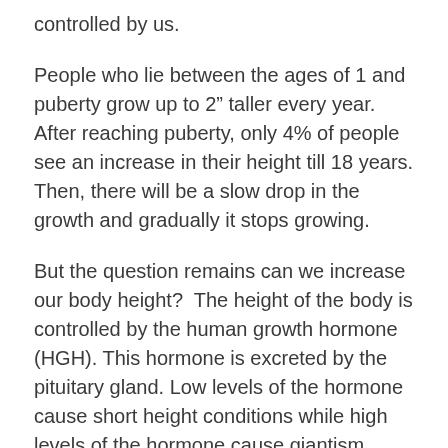controlled by us.
People who lie between the ages of 1 and puberty grow up to 2" taller every year. After reaching puberty, only 4% of people see an increase in their height till 18 years. Then, there will be a slow drop in the growth and gradually it stops growing.
But the question remains can we increase our body height?  The height of the body is controlled by the human growth hormone (HGH). This hormone is excreted by the pituitary gland. Low levels of the hormone cause short height conditions while high levels of the hormone cause giantism. Thus, regulating human growth hormones can help in increasing height. It is found that 20-40 percent contribution to the body height depends on factors like diet, healthy lifestyle, exercises, etc. that can be controlled